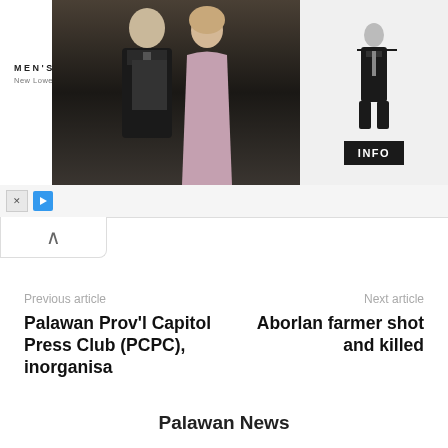[Figure (photo): Men's Wearhouse advertisement banner with couple in formal wear and a man in tuxedo with INFO button]
Previous article
Palawan Prov'l Capitol Press Club (PCPC), inorganisa
Next article
Aborlan farmer shot and killed
Palawan News